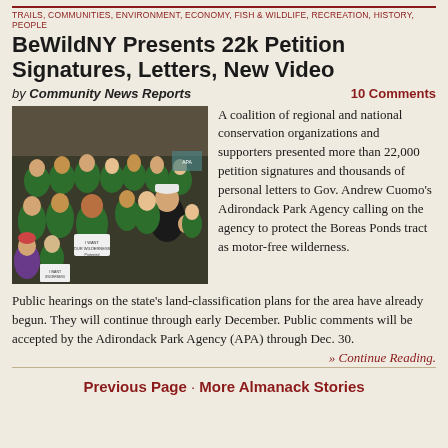TRAILS, COMMUNITIES, ENVIRONMENT, ECONOMY, FISH & WILDLIFE, RECREATION, HISTORY, PEOPLE
BeWildNY Presents 22k Petition Signatures, Letters, New Video
by Community News Reports   10 Comments
[Figure (photo): A large crowd of people wearing green 'I Want Wilderness' t-shirts gathered in an indoor meeting room, holding signs, including one that reads 'I Want Our Wilderness Protected'.]
A coalition of regional and national conservation organizations and supporters presented more than 22,000 petition signatures and thousands of personal letters to Gov. Andrew Cuomo's Adirondack Park Agency calling on the agency to protect the Boreas Ponds tract as motor-free wilderness.
Public hearings on the state's land-classification plans for the area have already begun. They will continue through early December. Public comments will be accepted by the Adirondack Park Agency (APA) through Dec. 30.
» Continue Reading.
Previous Page · More Almanack Stories